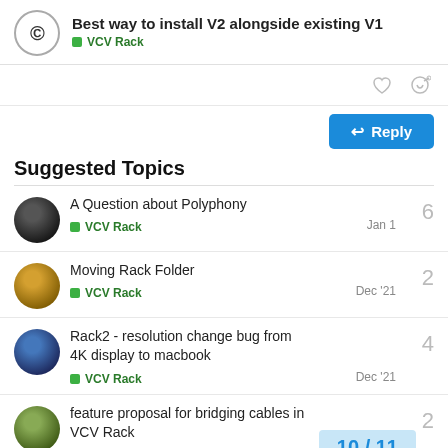Best way to install V2 alongside existing V1
VCV Rack
Suggested Topics
| Topic | Category | Replies | Date |
| --- | --- | --- | --- |
| A Question about Polyphony | VCV Rack | 6 | Jan 1 |
| Moving Rack Folder | VCV Rack | 2 | Dec '21 |
| Rack2 - resolution change bug from 4K display to macbook | VCV Rack | 4 | Dec '21 |
| feature proposal for bridging cables in VCV Rack | VCV Rack | 2 |  |
10 / 11